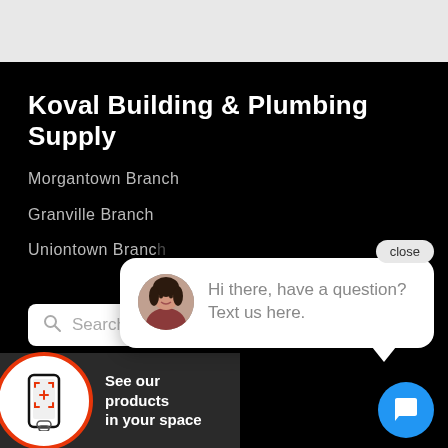[Figure (screenshot): Top browser/app bar area, light gray background]
Koval Building & Plumbing Supply
Morgantown Branch
Granville Branch
Uniontown Branch
[Figure (screenshot): Search bar with magnifying glass icon and placeholder text 'Search...']
[Figure (screenshot): Chat popup overlay showing avatar of woman and message: Hi there, have a question? Text us here. With a close button and blue chat bubble icon.]
Hi there, have a question? Text us here.
[Figure (infographic): AR product viewer button with phone icon in red/white circle and text 'See our products in your space']
See our products in your space